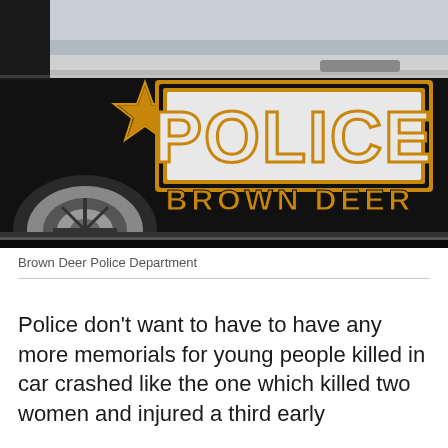[Figure (photo): Close-up photograph of a Brown Deer Police Department vehicle. The black SUV/car door shows 'POLICE' in large white letters with gold/brown trim outline, a star logo on the left, and 'BROWN DEER' text below. The vehicle wheel is partially visible on the left side.]
Brown Deer Police Department
Police don't want to have to have any more memorials for young people killed in car crashed like the one which killed two women and injured a third early